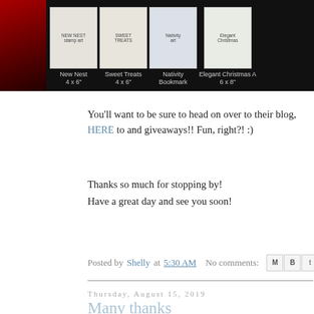[Figure (photo): Top banner showing a strip of craft/stamp product cards on a black background. Products include: New Nest 4x6, Sweet Treats 4x6, Nativity Bookmark, Elegant Christmas A 6x8. A red decorative element appears on the left side.]
You'll want to be sure to head on over to their blog, HERE to and giveaways!! Fun, right?! :)
Thanks so much for stopping by!
Have a great day and see you soon!
Posted by Shelly at 5:30 AM   No comments:
Thursday, August 15, 2019
Many thanks
Hey y'all!
Happy Thursday, hope you're week is going well?!...